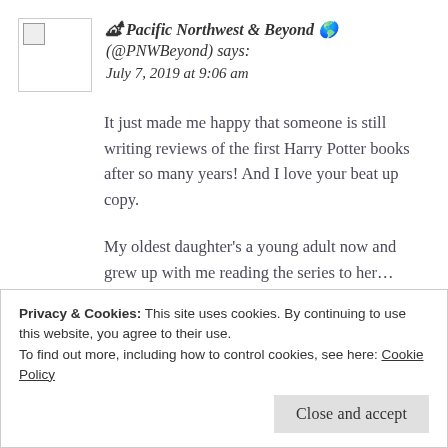[Figure (photo): Broken image placeholder / avatar thumbnail]
🏕 Pacific Northwest & Beyond 🌎 (@PNWBeyond) says: July 7, 2019 at 9:06 am
It just made me happy that someone is still writing reviews of the first Harry Potter books after so many years! And I love your beat up copy.
My oldest daughter's a young adult now and grew up with me reading the series to her... which she eventually finished on her own. She's
Privacy & Cookies: This site uses cookies. By continuing to use this website, you agree to their use.
To find out more, including how to control cookies, see here: Cookie Policy
Close and accept